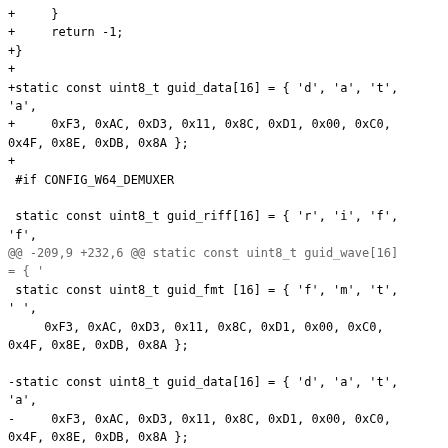+     }
+     return -1;
+}
+
+static const uint8_t guid_data[16] = { 'd', 'a', 't',
'a',
+     0xF3, 0xAC, 0xD3, 0x11, 0x8C, 0xD1, 0x00, 0xC0,
0x4F, 0x8E, 0xDB, 0x8A };
+
 #if CONFIG_W64_DEMUXER

 static const uint8_t guid_riff[16] = { 'r', 'i', 'f',
'f',
@@ -209,9 +232,6 @@ static const uint8_t guid_wave[16]
= { '
 static const uint8_t guid_fmt [16] = { 'f', 'm', 't',
' ',
     0xF3, 0xAC, 0xD3, 0x11, 0x8C, 0xD1, 0x00, 0xC0,
0x4F, 0x8E, 0xDB, 0x8A };

-static const uint8_t guid_data[16] = { 'd', 'a', 't',
'a',
-     0xF3, 0xAC, 0xD3, 0x11, 0x8C, 0xD1, 0x00, 0xC0,
0x4F, 0x8E, 0xDB, 0x8A };
-
 static int w64_probe(AVProbeData *p)
 {
     if (p->buf_size <= 40)
@@ -223,26 +243,6 @@ static int w64_probe(AVProbeData
*p)